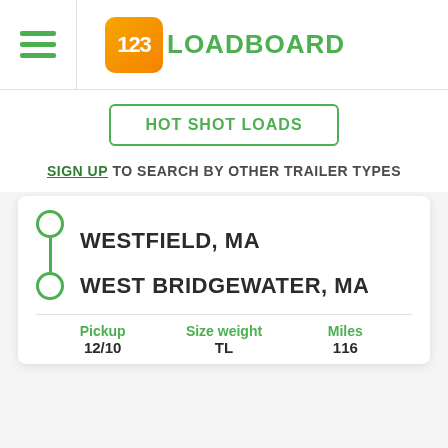[Figure (logo): 123Loadboard logo with orange rounded square containing '123' in white and green 'LOADBOARD' text]
HOT SHOT LOADS
SIGN UP TO SEARCH BY OTHER TRAILER TYPES
WESTFIELD, MA
WEST BRIDGEWATER, MA
Pickup  Size weight  Miles
12/10  TL  116